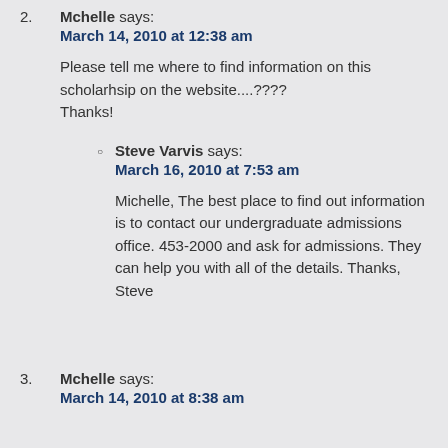2. Mchelle says: March 14, 2010 at 12:38 am
Please tell me where to find information on this scholarhsip on the website....???? Thanks!
Steve Varvis says: March 16, 2010 at 7:53 am
Michelle, The best place to find out information is to contact our undergraduate admissions office. 453-2000 and ask for admissions. They can help you with all of the details. Thanks, Steve
3. Mchelle says: March 14, 2010 at 8:38 am